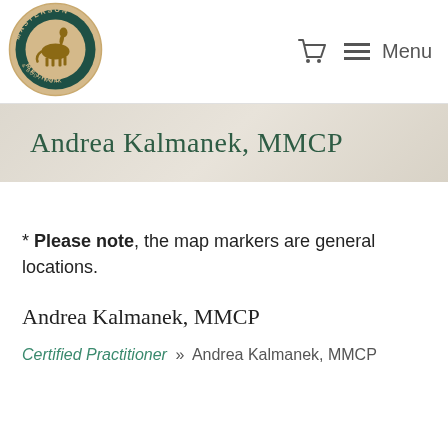[Figure (logo): Masterson Method logo — circular emblem with horse silhouette, text 'MASTERSON METHOD' and 'INTEGRATED EQUINE PERFORMANCE & BODY WORK']
Menu
Andrea Kalmanek, MMCP
* Please note, the map markers are general locations.
Andrea Kalmanek, MMCP
Certified Practitioner » Andrea Kalmanek, MMCP